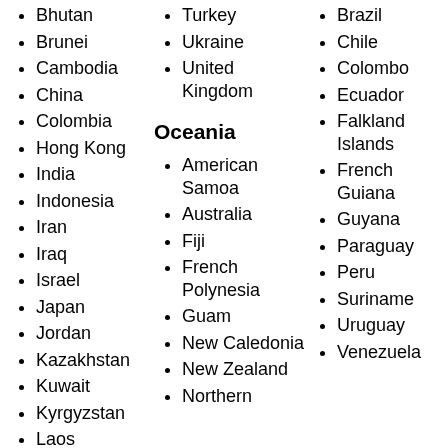Bhutan
Brunei
Cambodia
China
Colombia
Hong Kong
India
Indonesia
Iran
Iraq
Israel
Japan
Jordan
Kazakhstan
Kuwait
Kyrgyzstan
Laos
Turkey
Ukraine
United Kingdom
Oceania
American Samoa
Australia
Fiji
French Polynesia
Guam
New Caledonia
New Zealand
Northern
Brazil
Chile
Colombia
Ecuador
Falkland Islands
French Guiana
Guyana
Paraguay
Peru
Suriname
Uruguay
Venezuela